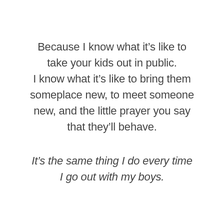Because I know what it's like to take your kids out in public. I know what it's like to bring them someplace new, to meet someone new, and the little prayer you say that they'll behave.
It's the same thing I do every time I go out with my boys.